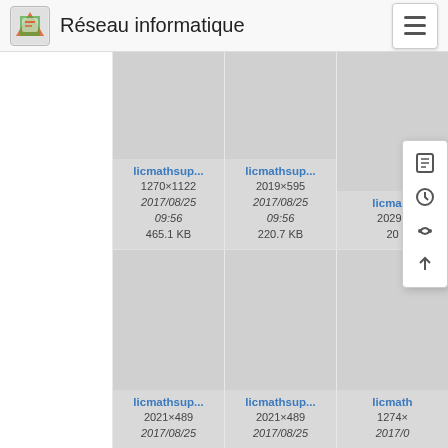Réseau informatique
[Figure (screenshot): File browser grid showing image thumbnails labeled licmathsup... with dimensions and file metadata. Row 1: licmathsup... 1270×1122 2017/08/25 09:56 465.1 KB; licmathsup... 2019×595 2017/08/25 09:56 220.7 KB; licmathsup... 2029×... 20... (partially hidden by popup menu). Row 2: licmathsup... 2021×489 2017/08/25; licmathsup... 2021×489 2017/08/25; licmathsup... 1274×... 2017/0... A popup context menu with icons is visible on the right side.]